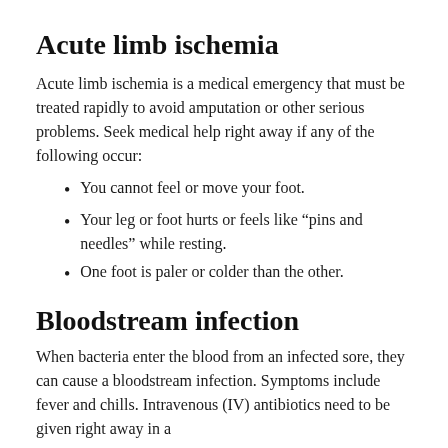Acute limb ischemia
Acute limb ischemia is a medical emergency that must be treated rapidly to avoid amputation or other serious problems. Seek medical help right away if any of the following occur:
You cannot feel or move your foot.
Your leg or foot hurts or feels like “pins and needles” while resting.
One foot is paler or colder than the other.
Bloodstream infection
When bacteria enter the blood from an infected sore, they can cause a bloodstream infection. Symptoms include fever and chills. Intravenous (IV) antibiotics need to be given right away in a